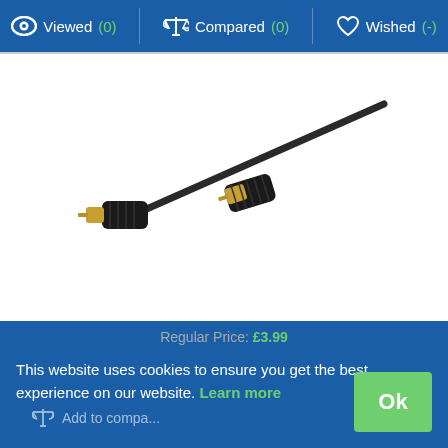Viewed (0)  Compared (0)  Wished (-)
[Figure (photo): Black coaxial antenna cable with gold-tipped male connectors on both ends, cable runs diagonally across the image]
Vivanco 48133
Regular Price: £3.99
This website uses cookies to ensure you get the best experience on our website. Learn more
Add to compa...